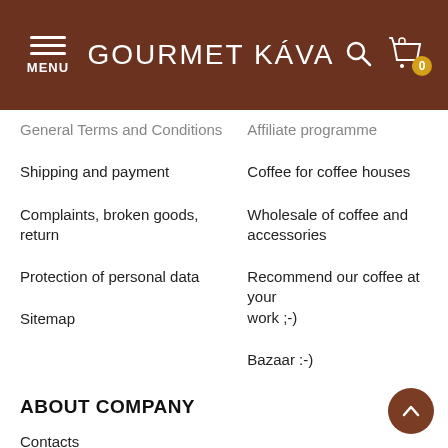GOURMET KÁVA
General Terms and Conditions (partial)
Affiliate programme (partial)
Shipping and payment
Coffee for coffee houses
Complaints, broken goods, return
Wholesale of coffee and accessories
Protection of personal data
Recommend our coffee at your work ;-)
Sitemap
Bazaar :-)
ABOUT COMPANY
Contacts
Coffee shop in Prague - Vinohrady
Our Coffee Why Us?